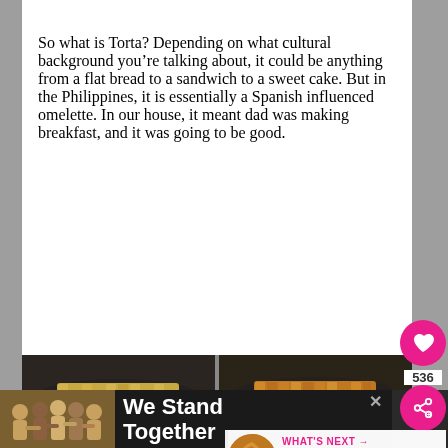So what is Torta?  Depending on what cultural background you're talking about, it could be anything from a flat bread to a sandwich to a sweet cake.  But in the Philippines, it is essentially a Spanish influenced omelette.  In our house, it meant dad was making breakfast, and it was going to be good.
[Figure (photo): Four-panel photo collage showing diced potatoes being cooked in a dark frying pan on a gas stove burner, at different stages of cooking]
[Figure (photo): Ad banner with group of people standing together and text 'We Stand Together']